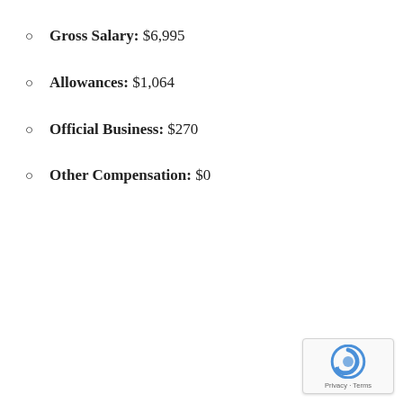Gross Salary: $6,995
Allowances: $1,064
Official Business: $270
Other Compensation: $0